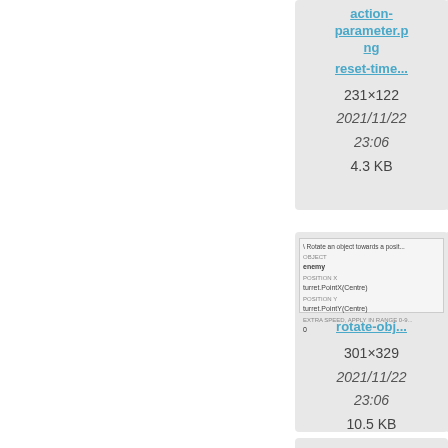[Figure (screenshot): File card for action-parameter.png / reset-time thumbnail showing dimensions 231x122, date 2021/11/22 23:06, size 4.3 KB]
[Figure (screenshot): File card for action (truncated) / reset- thumbnail showing dimensions 511x, date 2021/ 23, size 7.4 (partially visible)]
[Figure (screenshot): File card for rotate-obj... thumbnail showing UI panel for Rotate object towards a position, dimensions 301x329, date 2021/11/22 23:06, size 10.5 KB]
[Figure (screenshot): File card for gd...5:tut...ot...towar...ev...param...rotate (partially visible) showing dimensions 529x, date 2021/ 23, size 12.]
[Figure (screenshot): Partially visible card at bottom]